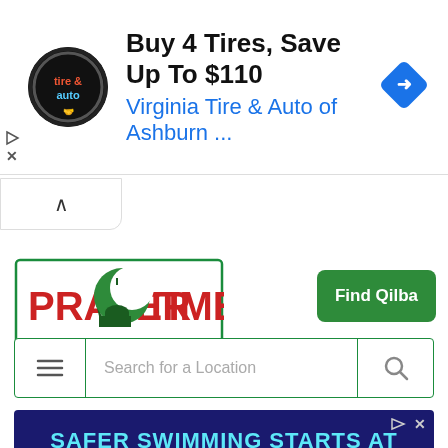[Figure (screenshot): Top ad banner: tire & auto logo circle, text 'Buy 4 Tires, Save Up To $110' and 'Virginia Tire & Auto of Ashburn ...' in blue, blue diamond with arrow icon on right]
[Figure (logo): Prayer Time logo with green crescent and mosque silhouette, text PRAYER TIME in red/green bordered box]
[Figure (screenshot): Green 'Find Qilba' button]
[Figure (screenshot): Search bar with hamburger menu, 'Search for a Location' placeholder, and search icon]
[Figure (screenshot): Bottom ad: dark blue background, 'SAFER SWIMMING STARTS AT' in cyan, 'BigBlue' in white bold, 'SWIM SCHOOL' below, 'DULLES' in white]